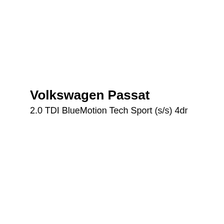Volkswagen Passat
2.0 TDI BlueMotion Tech Sport (s/s) 4dr